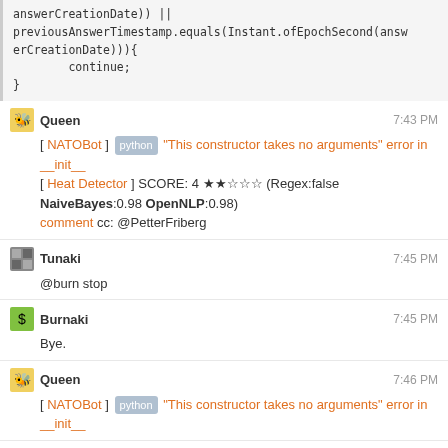answerCreationDate)) ||
previousAnswerTimestamp.equals(Instant.ofEpochSecond(answerCreationDate))){
        continue;
}
Queen 7:43 PM [ NATOBot ] python "This constructor takes no arguments" error in __init__ [ Heat Detector ] SCORE: 4 ★★☆☆☆ (Regex:false NaiveBayes:0.98 OpenNLP:0.98) comment cc: @PetterFriberg
Tunaki 7:45 PM @burn stop
Burnaki 7:45 PM Bye.
Queen 7:46 PM [ NATOBot ] python "This constructor takes no arguments" error in __init__
Bhargav Rao 7:46 PM (reboot --^)
Queen 7:47 PM [ NATOBot ] android Geofencing API: adding successful but not triggered [ NATOBot ] gwt Java 8 support in GWT
Burnaki 7:48 PM